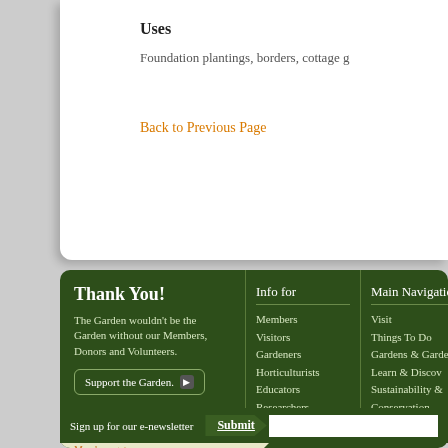Uses
Foundation plantings, borders, cottage g
Back to Previous Page
Thank You!
The Garden wouldn't be the Garden without our Members, Donors and Volunteers.
Support the Garden.
Become a Member! Members get more.
Info for
Members
Visitors
Gardeners
Horticulturists
Educators
Researchers
Main Navigation
Visit
Things To Do
Gardens & Gardening
Learn & Discovery
Sustainability & Conservation
Plant Science
About
Sign up for our e-newsletter
Submit